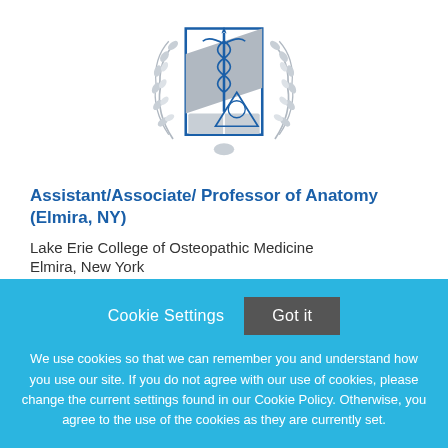[Figure (logo): Lake Erie College of Osteopathic Medicine crest/seal with caduceus, open book, wreath, and triangular emblem in blue and gray]
Assistant/Associate/ Professor of Anatomy (Elmira, NY)
Lake Erie College of Osteopathic Medicine
Elmira, New York
Cookie Settings
Got it
We use cookies so that we can remember you and understand how you use our site. If you do not agree with our use of cookies, please change the current settings found in our Cookie Policy. Otherwise, you agree to the use of the cookies as they are currently set.